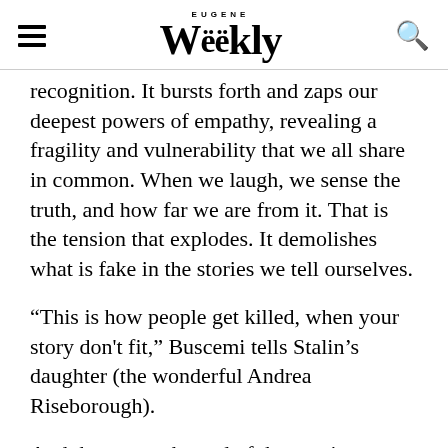EUGENE Weekly
recognition. It bursts forth and zaps our deepest powers of empathy, revealing a fragility and vulnerability that we all share in common. When we laugh, we sense the truth, and how far we are from it. That is the tension that explodes. It demolishes what is fake in the stories we tell ourselves.
“This is how people get killed, when your story don't fit,” Buscemi tells Stalin’s daughter (the wonderful Andrea Riseborough).
And then, near the end of the movie, a Russian